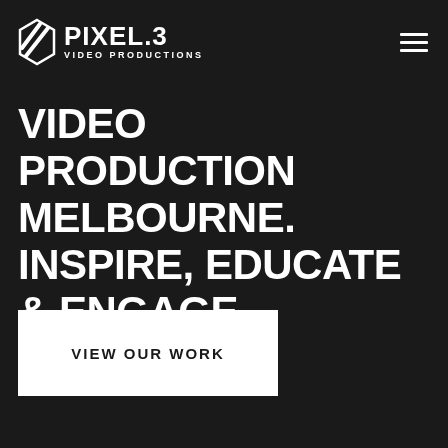[Figure (logo): Pixel 3 Video Productions logo with diamond/slash icon and company name]
VIDEO PRODUCTION MELBOURNE. INSPIRE, EDUCATE & ENGAGE.
VIEW OUR WORK